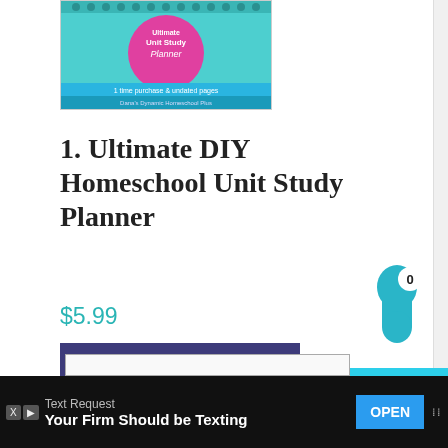[Figure (photo): Product image of Ultimate DIY Homeschool Unit Study Planner — teal spiral notebook with pink circular label, text '1 time purchase & undated pages', from Dynamic Homeschool Plus]
1. Ultimate DIY Homeschool Unit Study Planner
$5.99
[Figure (illustration): Dark blue 'Add to cart' button]
[Figure (illustration): Teal cart counter bubble showing '0']
[Figure (illustration): Teal sidebar widget showing 'A to Z List: Middle and...' with thumbnail image]
[Figure (screenshot): Bottom ad bar: Text Request — 'Your Firm Should be Texting' with OPEN button]